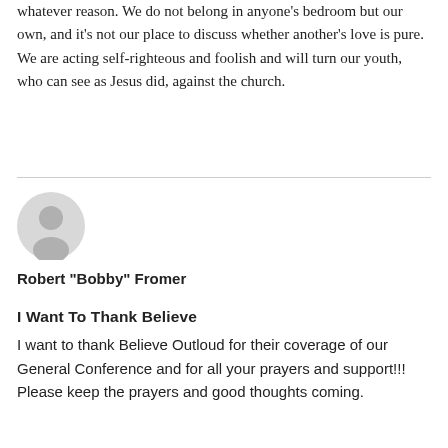whatever reason. We do not belong in anyone's bedroom but our own, and it's not our place to discuss whether another's love is pure. We are acting self-righteous and foolish and will turn our youth, who can see as Jesus did, against the church.
[Figure (illustration): Default user avatar icon — a grey silhouette of a person (head and shoulders) on a light grey circular background]
Robert "Bobby" Fromer
I Want To Thank Believe
I want to thank Believe Outloud for their coverage of our General Conference and for all your prayers and support!!! Please keep the prayers and good thoughts coming.